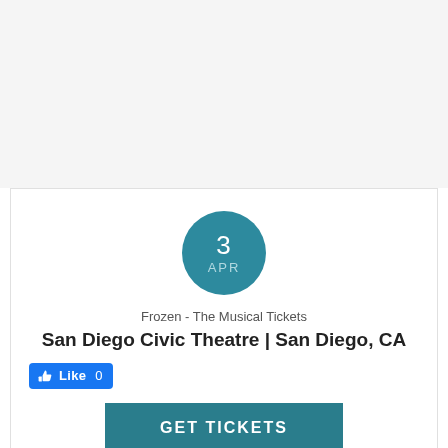[Figure (other): Teal circular date badge showing '3' and 'APR']
Frozen - The Musical Tickets
San Diego Civic Theatre | San Diego, CA
[Figure (other): Facebook Like button with thumbs up icon and count 0]
GET TICKETS